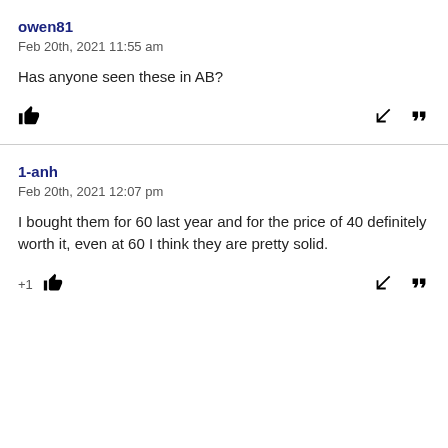owen81
Feb 20th, 2021 11:55 am
Has anyone seen these in AB?
1-anh
Feb 20th, 2021 12:07 pm
I bought them for 60 last year and for the price of 40 definitely worth it, even at 60 I think they are pretty solid.